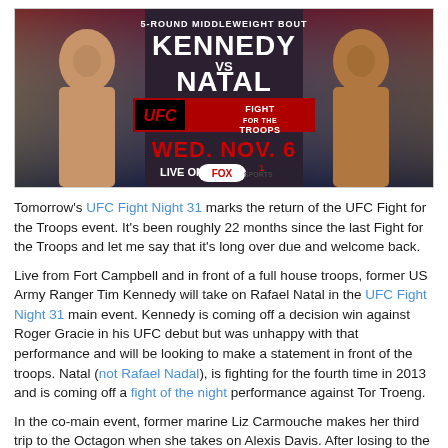[Figure (photo): UFC Fight for the Troops promotional banner: Kennedy vs Natal, 5-Round Middleweight Bout, UFC Fight for the Troops, Wed. Nov. 6, Live on Fox Sports 1. Shows two fighters' faces on left and right with American flag background.]
Tomorrow's UFC Fight Night 31 marks the return of the UFC Fight for the Troops event. It's been roughly 22 months since the last Fight for the Troops and let me say that it's long over due and welcome back.
Live from Fort Campbell and in front of a full house troops, former US Army Ranger Tim Kennedy will take on Rafael Natal in the UFC Fight Night 31 main event. Kennedy is coming off a decision win against Roger Gracie in his UFC debut but was unhappy with that performance and will be looking to make a statement in front of the troops. Natal (not Rafael Nadal), is fighting for the fourth time in 2013 and is coming off a fight of the night performance against Tor Troeng.
In the co-main event, former marine Liz Carmouche makes her third trip to the Octagon when she takes on Alexis Davis. After losing to the Bantomweight champion Ronda Rousey in the first ever women's UFC